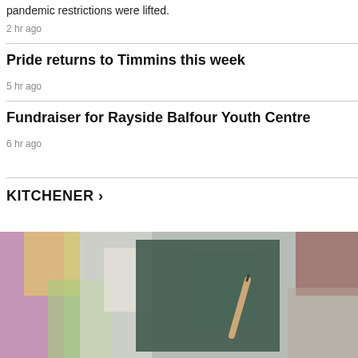pandemic restrictions were lifted.
2 hr ago
Pride returns to Timmins this week
5 hr ago
Fundraiser for Rayside Balfour Youth Centre
6 hr ago
KITCHENER >
[Figure (photo): A blurred classroom or artistic scene with colorful backgrounds and a hand holding a pen or paintbrush near a dark board.]